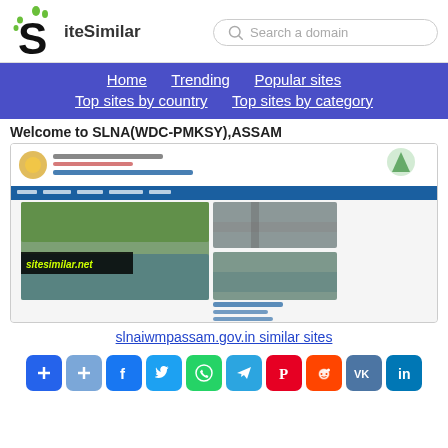[Figure (logo): SiteSimilar logo with stylized S and green dots]
Search a domain
Home   Trending   Popular sites   Top sites by country   Top sites by category
Welcome to SLNA(WDC-PMKSY),ASSAM
[Figure (screenshot): Screenshot of slnaiwmpassam.gov.in website showing STATE LEVEL NODAL AGENCY WATERSHED DEVELOPMENT COMPONENT - PMKSY, ASSAM with images of water bodies and a sitesimilar.net watermark]
slnaiwmpassam.gov.in similar sites
[Figure (infographic): Row of social sharing buttons: add (blue), add (light blue), Facebook (blue), Twitter (blue), WhatsApp (green), Telegram (blue), Pinterest (red), Reddit (orange-red), VK (slate blue), LinkedIn (blue)]